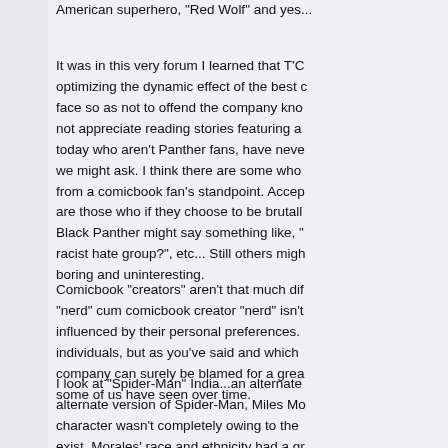American superhero, "Red Wolf" and yes...
It was in this very forum I learned that T'C... optimizing the dynamic effect of the best c... face so as not to offend the company kno... not appreciate reading stories featuring a... today who aren't Panther fans, have neve... we might ask. I think there are some who... from a comicbook fan's standpoint. Accep... are those who if they choose to be brutall... Black Panther might say something like, "... racist hate group?", etc... Still others migh... boring and uninteresting.
Comicbook "creators" aren't that much dif... "nerd" cum comicbook creator "nerd" isn't... influenced by their personal preferences.... individuals, but as you've said and which... company can surely be blamed for a grea... some of us have seen over time.
I look at "Spider-Man" India...an alternate... alternate version of Spider-Man, Miles Mo... character wasn't completely owing to the... exist. Morales' race and ethnicity had a gr...